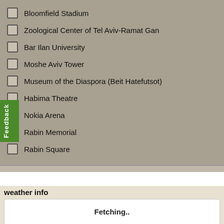Bloomfield Stadium
Zoological Center of Tel Aviv-Ramat Gan
Bar Ilan University
Moshe Aviv Tower
Museum of the Diaspora (Beit Hatefutsot)
Habima Theatre
Nokia Arena
Rabin Memorial
Rabin Square
weather info
Fetching..
Current time